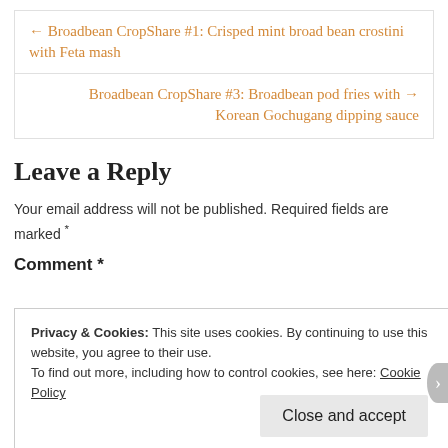← Broadbean CropShare #1: Crisped mint broad bean crostini with Feta mash
Broadbean CropShare #3: Broadbean pod fries with Korean Gochugang dipping sauce →
Leave a Reply
Your email address will not be published. Required fields are marked *
Comment *
Privacy & Cookies: This site uses cookies. By continuing to use this website, you agree to their use.
To find out more, including how to control cookies, see here: Cookie Policy